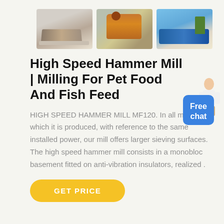[Figure (photo): Three photos of industrial milling/crushing machines in outdoor quarry/construction settings]
High Speed Hammer Mill | Milling For Pet Food And Fish Feed
HIGH SPEED HAMMER MILL MF120. In all models in which it is produced, with reference to the same installed power, our mill offers larger sieving surfaces. The high speed hammer mill consists in a monobloc basement fitted on anti-vibration insulators, realized .
[Figure (illustration): Free chat button with assistant figure - blue rounded rectangle with text 'Free chat']